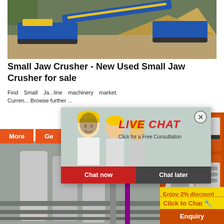[Figure (photo): Mobile jaw crusher machinery at a sandy construction/mining site, blue and yellow machines]
Small Jaw Crusher - New Used Small Jaw Crusher for sale
Find Small Jaw ... line machinery market. Current... Browse further ...
[Figure (photo): Industrial plant with large cylindrical tanks and piping]
[Figure (photo): Right sidebar with orange background showing crusher machinery images]
Enjoy 3% discount
Click to Chat
Enquiry
[Figure (screenshot): Live chat popup modal with woman in hard hat, LIVE CHAT heading in red, Click for a Free Consultation, Chat now and Chat later buttons]